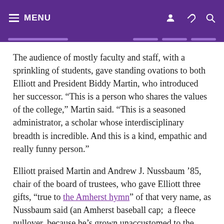MENU
The audience of mostly faculty and staff, with a sprinkling of students, gave standing ovations to both Elliott and President Biddy Martin, who introduced her successor. “This is a person who shares the values of the college,” Martin said. “This is a seasoned administrator, a scholar whose interdisciplinary breadth is incredible. And this is a kind, empathic and really funny person.”
Elliott praised Martin and Andrew J. Nussbaum ’85, chair of the board of trustees, who gave Elliott three gifts, “true to the Amherst hymn” of that very name, as Nussbaum said (an Amherst baseball cap;  a fleece pullover, because he’s grown unaccustomed to the New England climate; and a copy of the 1992 Olio yearbook). Elliott, whose books